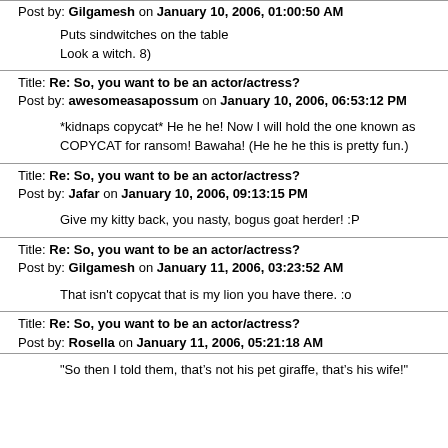Post by: Gilgamesh on January 10, 2006, 01:00:50 AM
Puts sindwitches on the table
Look a witch. 8)
Title: Re: So, you want to be an actor/actress?
Post by: awesomeasapossum on January 10, 2006, 06:53:12 PM
*kidnaps copycat* He he he! Now I will hold the one known as COPYCAT for ransom! Bawaha! (He he he this is pretty fun.)
Title: Re: So, you want to be an actor/actress?
Post by: Jafar on January 10, 2006, 09:13:15 PM
Give my kitty back, you nasty, bogus goat herder! :P
Title: Re: So, you want to be an actor/actress?
Post by: Gilgamesh on January 11, 2006, 03:23:52 AM
That isn't copycat that is my lion you have there. :o
Title: Re: So, you want to be an actor/actress?
Post by: Rosella on January 11, 2006, 05:21:18 AM
"So then I told them, that’s not his pet giraffe, that’s his wife!"